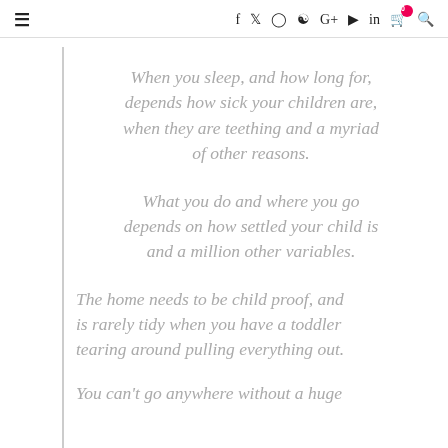≡  f  🐦  📷  Pinterest  G+  ▶  in  🛒⁰  🔍
When you sleep, and how long for, depends how sick your children are, when they are teething and a myriad of other reasons.
What you do and where you go depends on how settled your child is and a million other variables.
The home needs to be child proof, and is rarely tidy when you have a toddler tearing around pulling everything out.
You can't go anywhere without a huge